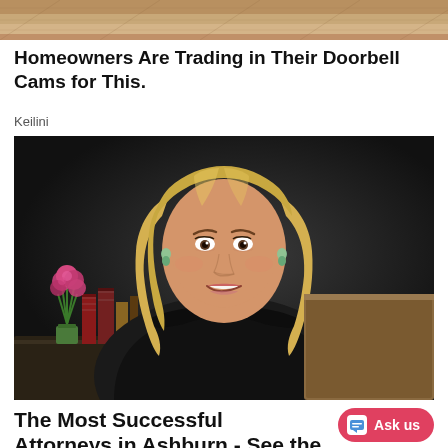[Figure (photo): Cropped photo of food or textured surface at top of page]
Homeowners Are Trading in Their Doorbell Cams for This.
Keilini
[Figure (photo): Professional portrait photo of a smiling blonde woman wearing a black judicial robe, seated at a desk with pink flowers and law books in the background]
The Most Successful Attorneys in Ashburn - See the List